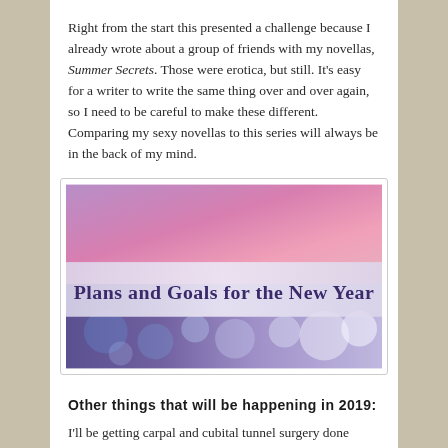Right from the start this presented a challenge because I already wrote about a group of friends with my novellas, Summer Secrets. Those were erotica, but still. It's easy for a writer to write the same thing over and over again, so I need to be careful to make these different. Comparing my sexy novellas to this series will always be in the back of my mind.
[Figure (illustration): Banner image with purple-pink gradient top section and bokeh light effect bottom section, with semi-transparent white band across middle containing text 'Plans and Goals for the New Year' in dark purple serif font.]
Other things that will be happening in 2019:
I'll be getting carpal and cubital tunnel surgery done